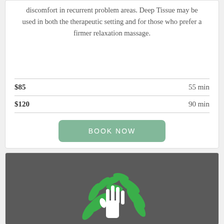discomfort in recurrent problem areas. Deep Tissue may be used in both the therapeutic setting and for those who prefer a firmer relaxation massage.
| Price | Duration |
| --- | --- |
| $85 | 55 min |
| $120 | 90 min |
BOOK NOW
[Figure (logo): Green tree/plant logo with white hand silhouette on dark gray background]